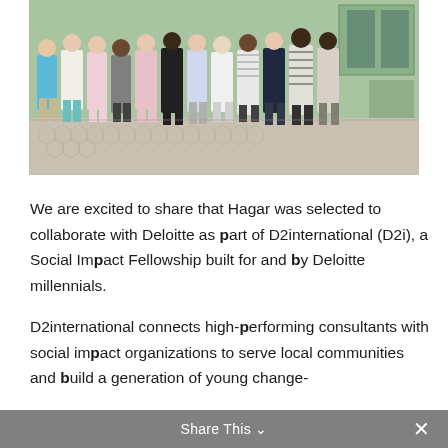[Figure (photo): Group photo of approximately 12 people standing together outdoors in front of a green building with a tiled ground. People are dressed in casual summer clothing.]
We are excited to share that Hagar was selected to collaborate with Deloitte as part of D2international (D2i), a Social Impact Fellowship built for and by Deloitte millennials.
D2international connects high-performing consultants with social impact organizations to serve local communities and build a generation of young change-
Share This ∨  ×